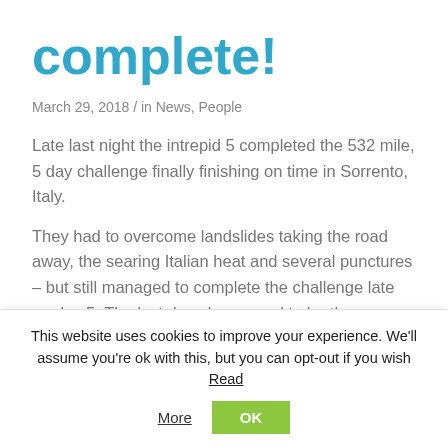complete!
March 29, 2018  /  in News, People
Late last night the intrepid 5 completed the 532 mile, 5 day challenge finally finishing on time in Sorrento, Italy.
They had to overcome landslides taking the road away, the searing Italian heat and several punctures – but still managed to complete the challenge late on day 5. The last day also proved to be the toughest with over 6,000 ft. climbed as they summited the spine of the Italian peninsula.
This website uses cookies to improve your experience. We'll assume you're ok with this, but you can opt-out if you wish  Read More  OK